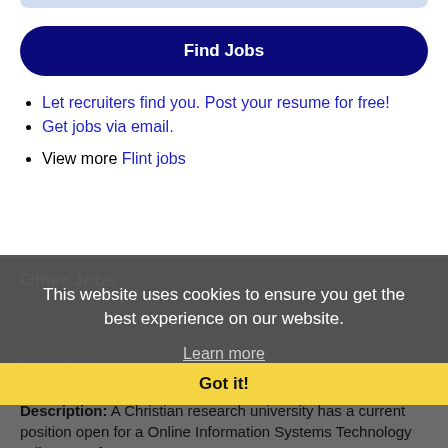[Figure (other): Top partial rounded rectangle bar (light blue)]
Find Jobs
Let recruiters find you. Post your resume for free!
Get jobs via email.
View more Flint jobs
Other Jobs
This website uses cookies to ensure you get the best experience on our website.
Learn more
Online Information Systems Technology Adjunct Professor
Got it!
Description: A Christian research university has a current position open for a Online Information Systems Technology Adjunct Professor.